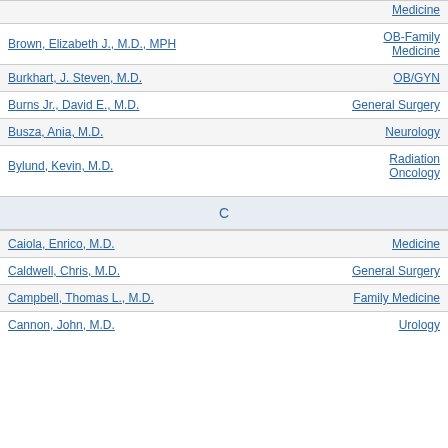| Name | Specialty |
| --- | --- |
| [partial name] | Medicine |
| Brown, Elizabeth J., M.D., MPH | OB-Family Medicine |
| Burkhart, J. Steven, M.D. | OB/GYN |
| Burns Jr., David E., M.D. | General Surgery |
| Busza, Ania, M.D. | Neurology |
| Bylund, Kevin, M.D. | Radiation Oncology |
C
| Name | Specialty |
| --- | --- |
| Caiola, Enrico, M.D. | Medicine |
| Caldwell, Chris, M.D. | General Surgery |
| Campbell, Thomas L., M.D. | Family Medicine |
| Cannon, John, M.D. | Urology |